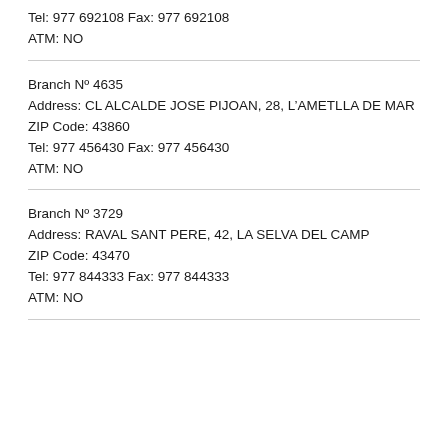Tel: 977 692108 Fax: 977 692108
ATM: NO
Branch Nº 4635
Address: CL ALCALDE JOSE PIJOAN, 28, L'AMETLLA DE MAR
ZIP Code: 43860
Tel: 977 456430 Fax: 977 456430
ATM: NO
Branch Nº 3729
Address: RAVAL SANT PERE, 42, LA SELVA DEL CAMP
ZIP Code: 43470
Tel: 977 844333 Fax: 977 844333
ATM: NO